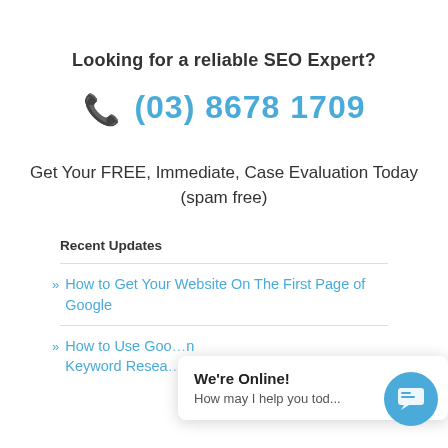Looking for a reliable SEO Expert?
📞 (03) 8678 1709
Get Your FREE, Immediate, Case Evaluation Today (spam free)
Recent Updates
How to Get Your Website On The First Page of Google
How to Use Google Adwords for Keyword Research
We're Online! How may I help you tod...